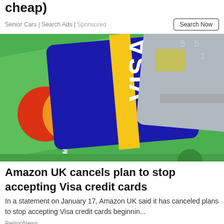cheap)
Senior Cars | Search Ads | Sponsored
Search Now
[Figure (photo): Close-up photo of three credit cards fanned out: MasterCard (green background), Visa (blue background), and American Express (silver background)]
Amazon UK cancels plan to stop accepting Visa credit cards
In a statement on January 17, Amazon UK said it has canceled plans to stop accepting Visa credit cards beginnin...
BeijingNews